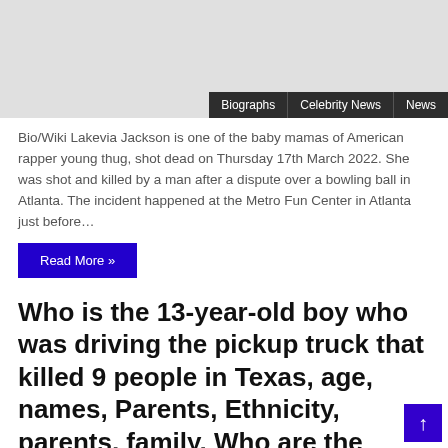[Figure (other): Gray placeholder image with navigation bar overlaid at bottom right showing Biographs, Celebrity News, News tabs]
Bio/Wiki Lakevia Jackson is one of the baby mamas of American rapper young thug, shot dead on Thursday 17th March 2022. She was shot and killed by a man after a dispute over a bowling ball in Atlanta. The incident happened at the Metro Fun Center in Atlanta just before…
Read More »
Who is the 13-year-old boy who was driving the pickup truck that killed 9 people in Texas, age, names, Parents, Ethnicity, parents, family, Who are the people killed in the Texas accident,